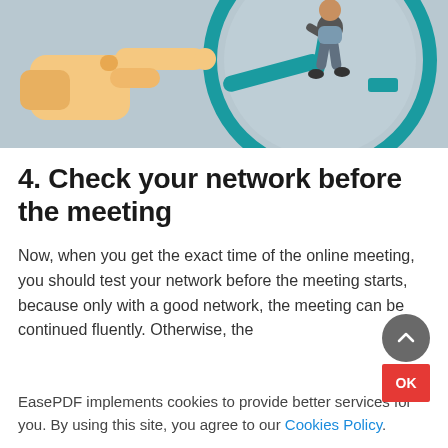[Figure (illustration): Illustration showing a large pointing hand on the left and a person sitting on a clock face with teal clock hands, on a light gray background.]
4. Check your network before the meeting
Now, when you get the exact time of the online meeting, you should test your network before the meeting starts, because only with a good network, the meeting can be continued fluently. Otherwise, the
EasePDF implements cookies to provide better services for you. By using this site, you agree to our Cookies Policy.